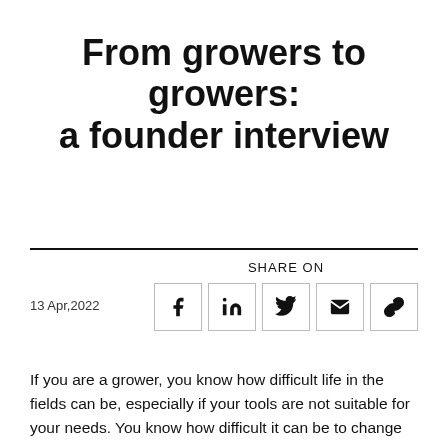From growers to growers: a founder interview
13 Apr,2022
[Figure (infographic): Share on icons row: Facebook, LinkedIn, Twitter, Email, Link — each in a bordered square box, with SHARE ON label above]
If you are a grower, you know how difficult life in the fields can be, especially if your tools are not suitable for your needs. You know how difficult it can be to change